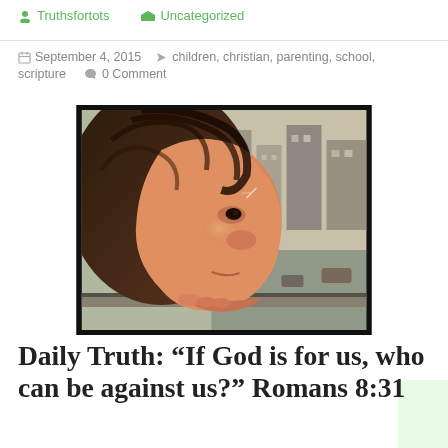Truthsfortots   Uncategorized
September 4, 2015   children, christian, parenting, school, scripture   0 Comment
[Figure (photo): Close-up photo of a young child looking out a window, resting their chin on the windowsill, with a blurred urban street visible through the glass. The image has a warm, slightly vintage tone.]
Daily Truth: “If God is for us, who can be against us?” Romans 8:31